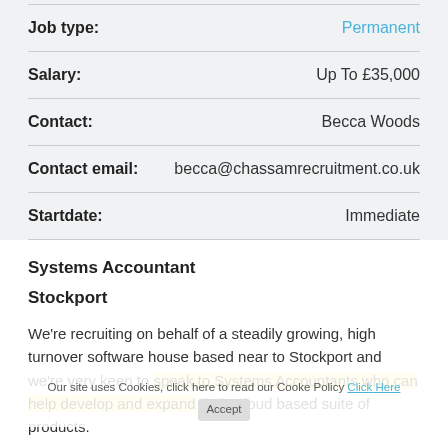| Field | Value |
| --- | --- |
| Job type: | Permanent |
| Salary: | Up To £35,000 |
| Contact: | Becca Woods |
| Contact email: | becca@chassamrecruitment.co.uk |
| Startdate: | Immediate |
Systems Accountant
Stockport
We're recruiting on behalf of a steadily growing, high turnover software house based near to Stockport and we're very keen to speak to Systems Accountants who can help develop and expand their Cloud based suite of products.